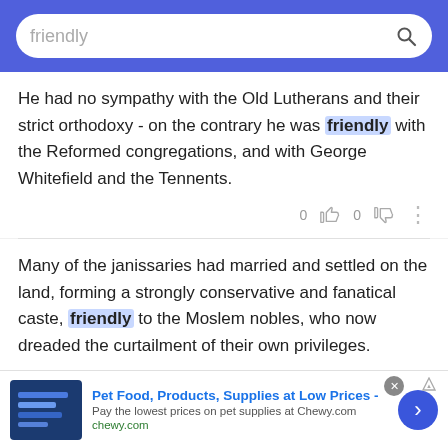friendly [search bar]
He had no sympathy with the Old Lutherans and their strict orthodoxy - on the contrary he was friendly with the Reformed congregations, and with George Whitefield and the Tennents.
Many of the janissaries had married and settled on the land, forming a strongly conservative and fanatical caste, friendly to the Moslem nobles, who now dreaded the curtailment of their own privileges.
[Figure (screenshot): Ad for Chewy.com - Pet Food, Products, Supplies at Low Prices. Pay the lowest prices on pet supplies at Chewy.com]